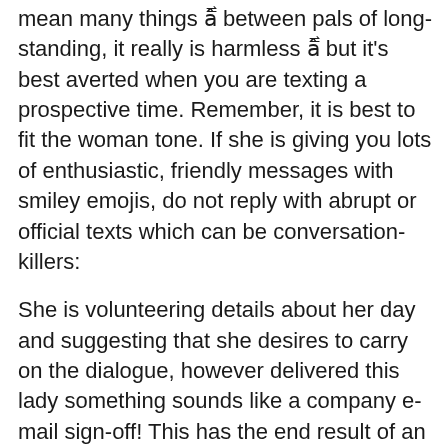mean many things â between pals of long-standing, it really is harmless â but it's best averted when you are texting a prospective time. Remember, it is best to fit the woman tone. If she is giving you lots of enthusiastic, friendly messages with smiley emojis, do not reply with abrupt or official texts which can be conversation-killers:
She is volunteering details about her day and suggesting that she desires to carry on the dialogue, however delivered this lady something sounds like a company e-mail sign-off! This has the end result of an ice-bucket directly to the top: there is means for her to reply to this. A "" can go quite a distance toward softening the brusqueness of one's response. Remember, you usually need to keep this lady experiencing great about the talk. Here's an